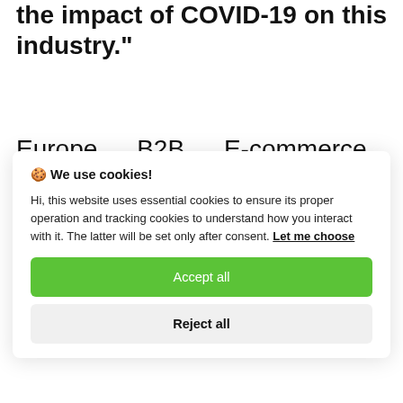the impact of COVID-19 on this industry."
Europe B2B E-commerce market reached $901.1 billion in 2019 and will grow by 11.9% annually over 2020-2026
[Figure (screenshot): Cookie consent overlay modal with title '🍪 We use cookies!', body text about essential and tracking cookies, a 'Let me choose' link, an 'Accept all' green button, and a 'Reject all' grey button.]
bottom partial text line